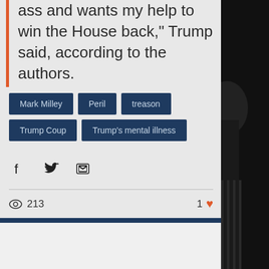ass and wants my help to win the House back," Trump said, according to the authors.
Mark Milley
Peril
treason
Trump Coup
Trump's mental illness
213 views  1 like
Recent Posts
See All
[Figure (photo): Thumbnail photo of a person in a suit with US flag seal in background]